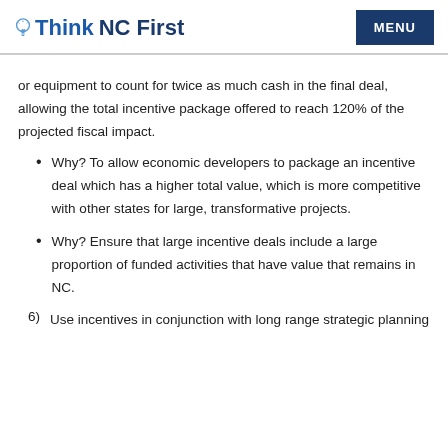Think NC First | MENU
or equipment to count for twice as much cash in the final deal, allowing the total incentive package offered to reach 120% of the projected fiscal impact.
Why? To allow economic developers to package an incentive deal which has a higher total value, which is more competitive with other states for large, transformative projects.
Why? Ensure that large incentive deals include a large proportion of funded activities that have value that remains in NC.
6) Use incentives in conjunction with long range strategic planning